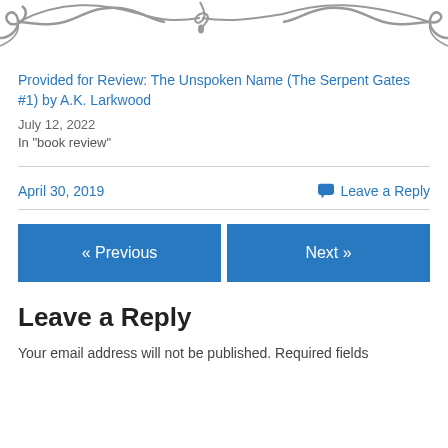[Figure (illustration): Decorative ornamental swirl divider in gray]
Provided for Review: The Unspoken Name (The Serpent Gates #1) by A.K. Larkwood
July 12, 2022
In "book review"
April 30, 2019
Leave a Reply
« Previous
Next »
Leave a Reply
Your email address will not be published. Required fields